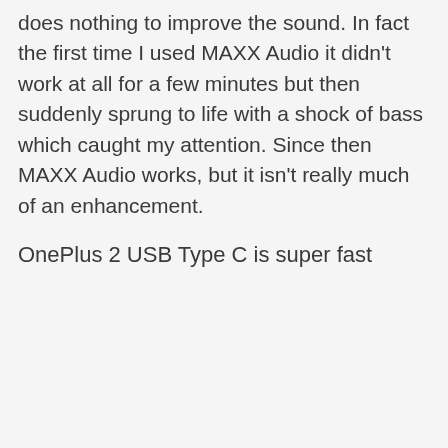does nothing to improve the sound. In fact the first time I used MAXX Audio it didn't work at all for a few minutes but then suddenly sprung to life with a shock of bass which caught my attention. Since then MAXX Audio works, but it isn't really much of an enhancement.
OnePlus 2 USB Type C is super fast